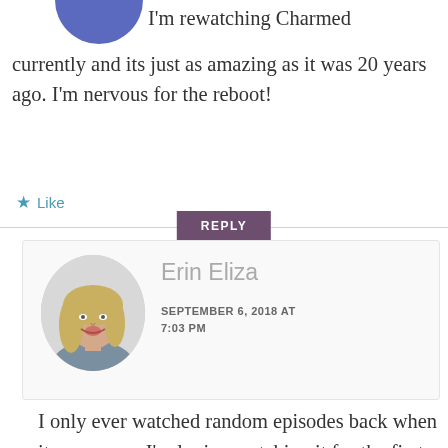[Figure (photo): Circular avatar partially visible at top, blue/purple color]
I'm rewatching Charmed currently and its just as amazing as it was 20 years ago. I'm nervous for the reboot!
Like
REPLY
[Figure (photo): Circular profile photo of Erin Eliza, a woman with blonde hair smiling]
Erin Eliza
SEPTEMBER 6, 2018 AT 7:03 PM
I only ever watched random episodes back when it was on, so I'm loving watching it for the first time right